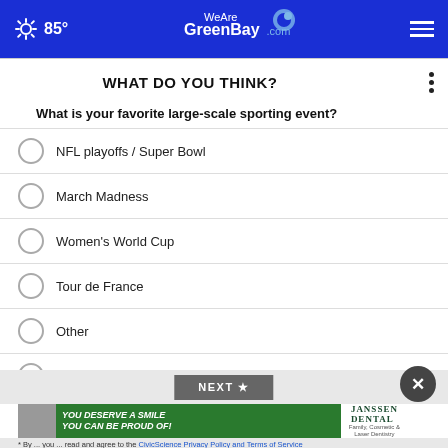85° WeAreGreenBay.com
WHAT DO YOU THINK?
What is your favorite large-scale sporting event?
NFL playoffs / Super Bowl
March Madness
Women's World Cup
Tour de France
Other
No opinion / Does not apply
[Figure (infographic): Green advertisement banner for Janssen Dental with text YOU DESERVE A SMILE YOU CAN BE PROUD OF!]
* By ... you ... read and agree to the CivicScience Privacy Policy and Terms of Service